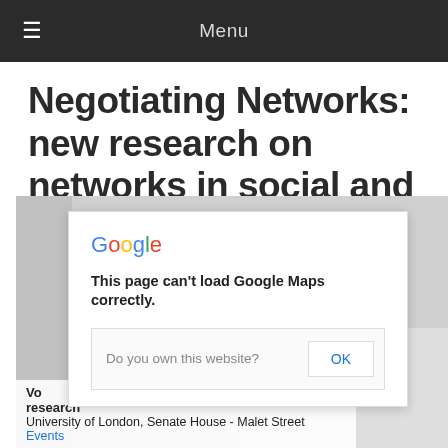Menu
Negotiating Networks: new research on networks in social and economic history
[Figure (screenshot): Google Maps error dialog overlay on a map background. Dialog shows 'Google' logo, message 'This page can't load Google Maps correctly.', a row with 'Do you own this website?' and an 'OK' button. Below the dialog partially visible text shows 'Vo', 'research', 'University of London, Senate House - Malet Street', and a link 'Events'.]